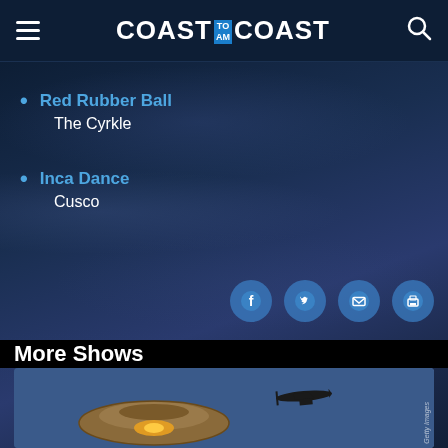COAST TO AM COAST
Red Rubber Ball
The Cyrkle
Inca Dance
Cusco
[Figure (screenshot): Social sharing icons: Facebook, Twitter, Email, Print]
More Shows
[Figure (photo): UFO flying saucer illustration with airplane in background, Getty Images watermark]